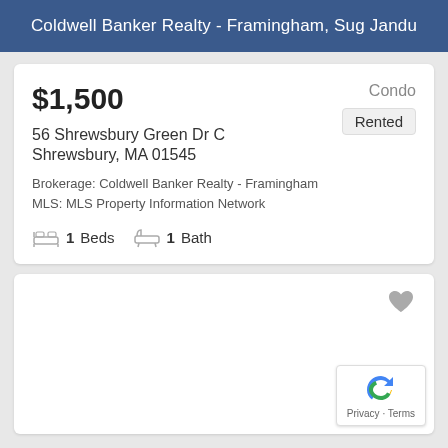Coldwell Banker Realty - Framingham, Sug Jandu
$1,500
Condo
Rented
56 Shrewsbury Green Dr C
Shrewsbury, MA 01545
Brokerage: Coldwell Banker Realty - Framingham
MLS: MLS Property Information Network
1 Beds   1 Bath
[Figure (other): Empty white card panel with a heart/favorite icon in top right corner and a reCAPTCHA badge in the bottom right corner]